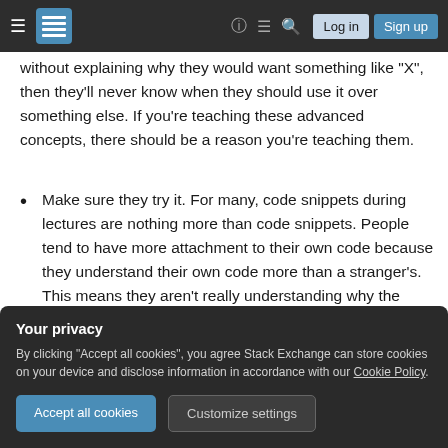Stack Exchange navigation bar with hamburger menu, logo, help icon, chat icon, search icon, Log in button, Sign up button
without explaining why they would want something like "X", then they'll never know when they should use it over something else. If you're teaching these advanced concepts, there should be a reason you're teaching them.
Make sure they try it. For many, code snippets during lectures are nothing more than code snippets. People tend to have more attachment to their own code because they understand their own code more than a stranger's. This means they aren't really understanding why the
Your privacy
By clicking "Accept all cookies", you agree Stack Exchange can store cookies on your device and disclose information in accordance with our Cookie Policy.
Accept all cookies   Customize settings